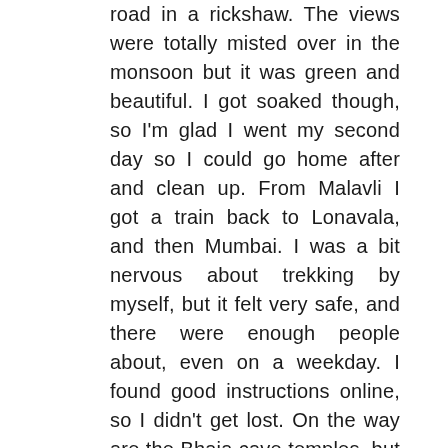road in a rickshaw. The views were totally misted over in the monsoon but it was green and beautiful. I got soaked though, so I'm glad I went my second day so I could go home after and clean up. From Malavli I got a train back to Lonavala, and then Mumbai. I was a bit nervous about trekking by myself, but it felt very safe, and there were enough people about, even on a weekday. I found good instructions online, so I didn't get lost. On the way are the Bhaja cave temples, but it's quite expensive for foreigners and I didn't really have time. There are lots of places to buy chai and biscuits at the base of the fort, and near the train station. The top of the fort was beautiful, and I explored for a long time.